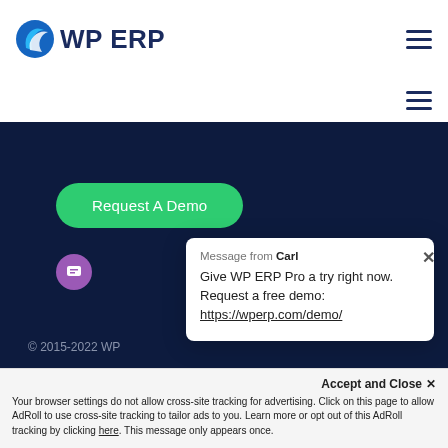[Figure (logo): WP ERP logo with blue circular swirl icon and dark blue text reading WP ERP]
[Figure (other): Hamburger menu icon (three horizontal lines) in dark blue, top right of header]
[Figure (other): Second hamburger menu icon below the header]
[Figure (screenshot): Dark navy background section with partial purple circle icon and Request A Demo green button]
Request A Demo
© 2015-2022 WP
[Figure (screenshot): Chat popup overlay: Message from Carl - Give WP ERP Pro a try right now. Request a free demo: https://wperp.com/demo/]
Message from Carl
Give WP ERP Pro a try right now. Request a free demo: https://wperp.com/demo/
Accept and Close ✕
Your browser settings do not allow cross-site tracking for advertising. Click on this page to allow AdRoll to use cross-site tracking to tailor ads to you. Learn more or opt out of this AdRoll tracking by clicking here. This message only appears once.